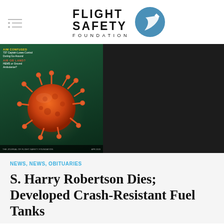[Figure (logo): Flight Safety Foundation logo with stylized aircraft icon and text FLIGHT SAFETY FOUNDATION]
[Figure (photo): Magazine cover or banner image showing orange coronavirus/virus illustration on teal background with yellow and red text overlays mentioning '737 Captain Loses Control During Go-Around' and 'HEMS or Ground Ambulance?' articles, set against a dark/black background panel]
NEWS, NEWS, OBITUARIES
S. Harry Robertson Dies; Developed Crash-Resistant Fuel Tanks